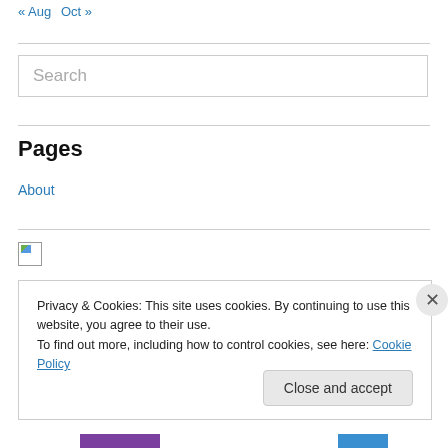« Aug   Oct »
Search
Pages
About
[Figure (photo): Broken image icon]
Privacy & Cookies: This site uses cookies. By continuing to use this website, you agree to their use.
To find out more, including how to control cookies, see here: Cookie Policy